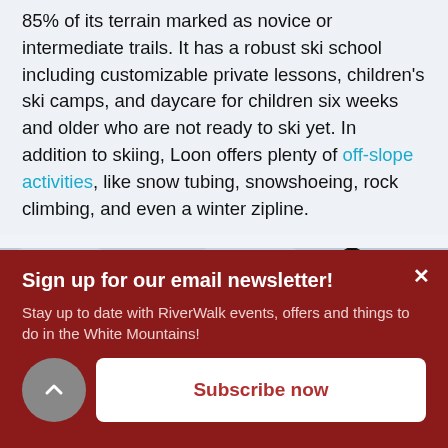85% of its terrain marked as novice or intermediate trails. It has a robust ski school including customizable private lessons, children's ski camps, and daycare for children six weeks and older who are not ready to ski yet. In addition to skiing, Loon offers plenty of off-slope activities, like snow tubing, snowshoeing, rock climbing, and even a winter zipline.
[Figure (photo): Close-up photo of a ski pole grip against a snowy blue background]
Sign up for our email newsletter!
Stay up to date with RiverWalk events, offers and things to do in the White Mountains!
Subscribe now